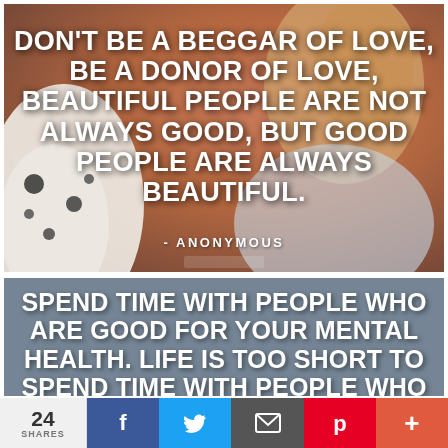[Figure (photo): Photo of a woman with blonde hair and a Dalmatian dog on a terracotta/orange background. White bold text overlaid with an inspirational quote about love and good people. Attribution to Anonymous.]
[Figure (photo): Gray/blue-gray background image card with white bold text about spending time with people who are good for your mental health.]
24 SHARES